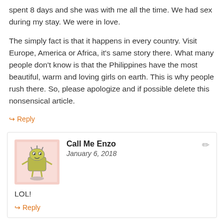spent 8 days and she was with me all the time. We had sex during my stay. We were in love.
The simply fact is that it happens in every country. Visit Europe, America or Africa, it’s same story there. What many people don’t know is that the Philippines have the most beautiful, warm and loving girls on earth. This is why people rush there. So, please apologize and if possible delete this nonsensical article.
↳ Reply
Call Me Enzo
January 6, 2018
LOL!
↳ Reply
Joseph